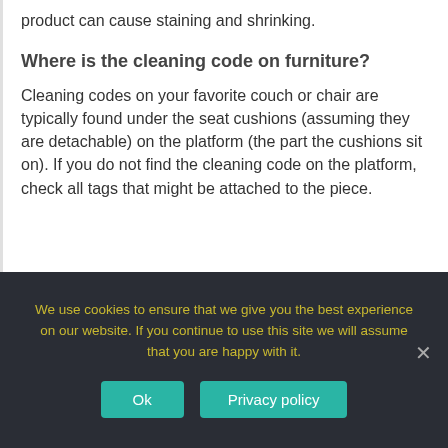product can cause staining and shrinking.
Where is the cleaning code on furniture?
Cleaning codes on your favorite couch or chair are typically found under the seat cushions (assuming they are detachable) on the platform (the part the cushions sit on). If you do not find the cleaning code on the platform, check all tags that might be attached to the piece.
We use cookies to ensure that we give you the best experience on our website. If you continue to use this site we will assume that you are happy with it.